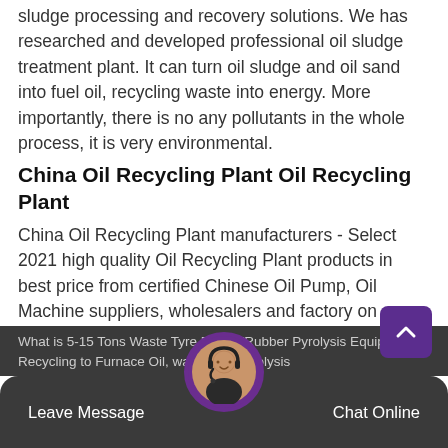sludge processing and recovery solutions. We has researched and developed professional oil sludge treatment plant. It can turn oil sludge and oil sand into fuel oil, recycling waste into energy. More importantly, there is no any pollutants in the whole process, it is very environmental.
China Oil Recycling Plant Oil Recycling Plant
China Oil Recycling Plant manufacturers - Select 2021 high quality Oil Recycling Plant products in best price from certified Chinese Oil Pump, Oil Machine suppliers, wholesalers and factory on Made-in-China.com ... Batch Integrated Waste Tyre Recycling to Fuel Oil Plant. FOB Price: US $ 168000 / Set Min. Order: 1 Set.
What is 5 15 Tons Waste Tyre Plastic made in china com
What is 5-15 Tons Waste Tyre Plastic/Rubber Pyrolysis Equipment Recycling to Furnace Oil, waste tyre pyrolysis